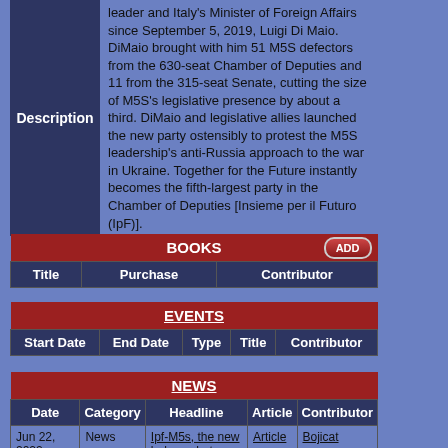leader and Italy's Minister of Foreign Affairs since September 5, 2019, Luigi Di Maio. DiMaio brought with him 51 M5S defectors from the 630-seat Chamber of Deputies and 11 from the 315-seat Senate, cutting the size of M5S's legislative presence by about a third. DiMaio and legislative allies launched the new party ostensibly to protest the M5S leadership's anti-Russia approach to the war in Ukraine. Together for the Future instantly becomes the fifth-largest party in the Chamber of Deputies [Insieme per il Futuro (IpF)].
| Title | Purchase | Contributor |
| --- | --- | --- |
| Start Date | End Date | Type | Title | Contributor |
| --- | --- | --- | --- | --- |
| Date | Category | Headline | Article | Contributor |
| --- | --- | --- | --- | --- |
| Jun 22, 2022 06:00pm | News | Ipf-M5s, the new balance between Parliament and | Article | Bojicat |